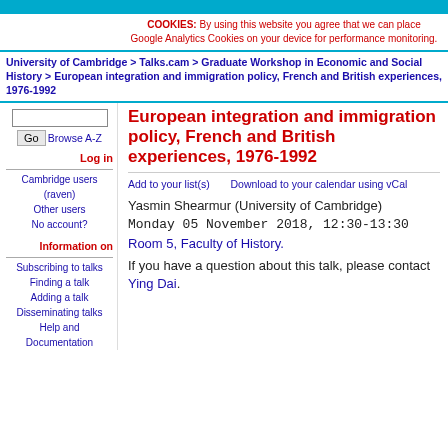COOKIES: By using this website you agree that we can place Google Analytics Cookies on your device for performance monitoring.
University of Cambridge > Talks.cam > Graduate Workshop in Economic and Social History > European integration and immigration policy, French and British experiences, 1976-1992
European integration and immigration policy, French and British experiences, 1976-1992
Add to your list(s)    Download to your calendar using vCal
Yasmin Shearmur (University of Cambridge)
Monday 05 November 2018, 12:30-13:30
Room 5, Faculty of History.
If you have a question about this talk, please contact Ying Dai.
Log in
Cambridge users (raven)
Other users
No account?
Information on
Subscribing to talks
Finding a talk
Adding a talk
Disseminating talks
Help and Documentation